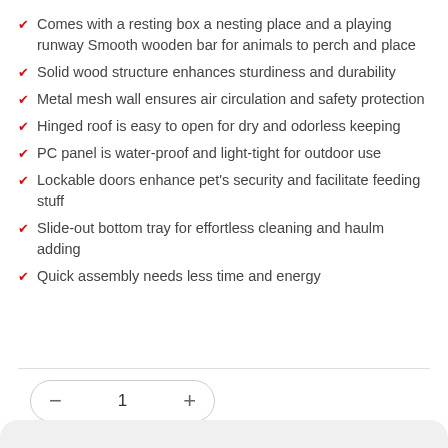Comes with a resting box a nesting place and a playing runway Smooth wooden bar for animals to perch and place
Solid wood structure enhances sturdiness and durability
Metal mesh wall ensures air circulation and safety protection
Hinged roof is easy to open for dry and odorless keeping
PC panel is water-proof and light-tight for outdoor use
Lockable doors enhance pet's security and facilitate feeding stuff
Slide-out bottom tray for effortless cleaning and haulm adding
Quick assembly needs less time and energy